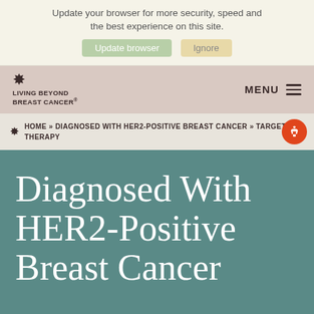Update your browser for more security, speed and the best experience on this site.
Update browser   Ignore
[Figure (logo): Living Beyond Breast Cancer logo with butterfly icon and text]
MENU
HOME » DIAGNOSED WITH HER2-POSITIVE BREAST CANCER » TARGETED THERAPY
Diagnosed With HER2-Positive Breast Cancer